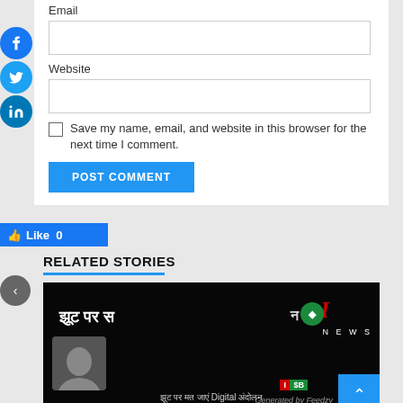Email
Website
Save my name, email, and website in this browser for the next time I comment.
POST COMMENT
[Figure (screenshot): Facebook Like button showing 'Like 0' count in blue]
RELATED STORIES
[Figure (screenshot): Dark news thumbnail image with Hindi text and news channel logo overlay, with Generated by Feedzy watermark]